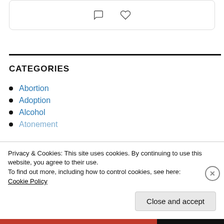[Figure (screenshot): Card with comment and heart icons]
CATEGORIES
Abortion
Adoption
Alcohol
Atonement
Privacy & Cookies: This site uses cookies. By continuing to use this website, you agree to their use.
To find out more, including how to control cookies, see here:
Cookie Policy
Close and accept